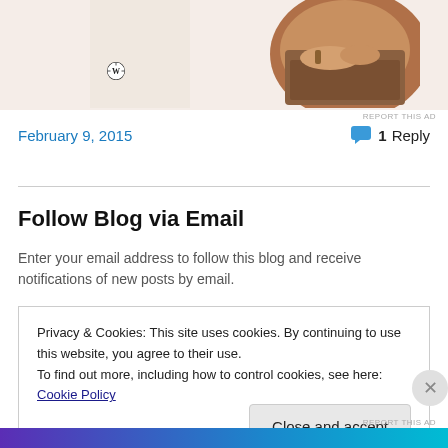[Figure (photo): Advertisement area showing a person typing on a laptop, with WordPress logo visible on the left side. Beige/warm background.]
REPORT THIS AD
February 9, 2015
1 Reply
Follow Blog via Email
Enter your email address to follow this blog and receive notifications of new posts by email.
Privacy & Cookies: This site uses cookies. By continuing to use this website, you agree to their use.
To find out more, including how to control cookies, see here: Cookie Policy
Close and accept
REPORT THIS AD